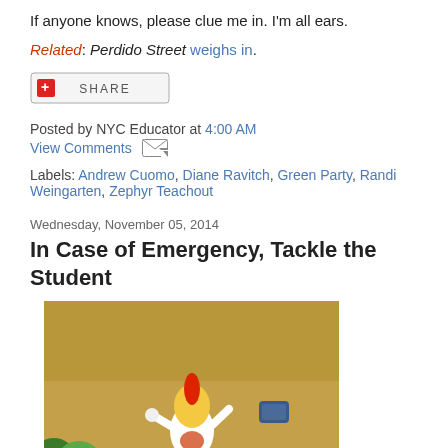If anyone knows, please clue me in. I'm all ears.
Related: Perdido Street weighs in.
[Figure (other): Share button with red plus icon]
Posted by NYC Educator at 4:00 AM
View Comments [email icon]
Labels: Andrew Cuomo, Diane Ravitch, Green Party, Randi Weingarten, Zephyr Teachout
Wednesday, November 05, 2014
In Case of Emergency, Tackle the Student
[Figure (illustration): Anime-style illustration showing a character tackling another character to the ground outdoors]